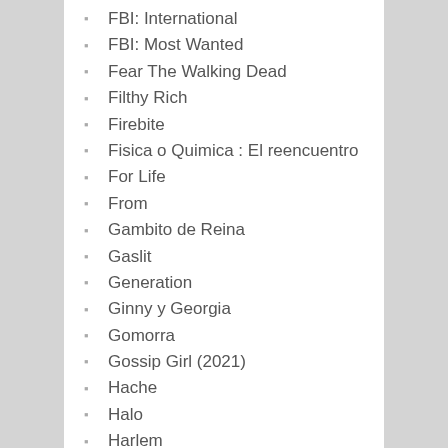FBI: International
FBI: Most Wanted
Fear The Walking Dead
Filthy Rich
Firebite
Fisica o Quimica : El reencuentro
For Life
From
Gambito de Reina
Gaslit
Generation
Ginny y Georgia
Gomorra
Gossip Girl (2021)
Hache
Halo
Harlem